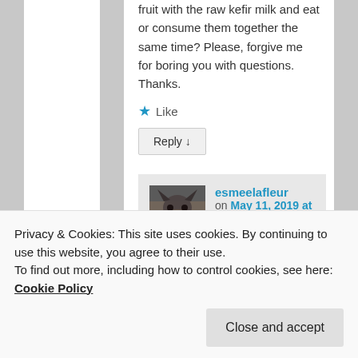fruit with the raw kefir milk and eat or consume them together the same time? Please, forgive me for boring you with questions. Thanks.
★ Like
Reply ↓
esmeelafleur on May 11, 2019 at 8:42
Privacy & Cookies: This site uses cookies. By continuing to use this website, you agree to their use. To find out more, including how to control cookies, see here: Cookie Policy
Close and accept
simply share Dr.